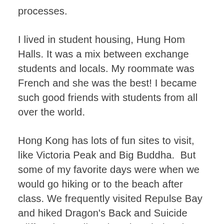processes.
I lived in student housing, Hung Hom Halls. It was a mix between exchange students and locals. My roommate was French and she was the best! I became such good friends with students from all over the world.
Hong Kong has lots of fun sites to visit, like Victoria Peak and Big Buddha.  But some of my favorite days were when we would go hiking or to the beach after class. We frequently visited Repulse Bay and hiked Dragon's Back and Suicide Cliff. I also really enjoyed exploring the Ladies Market and the Temple Night Market.